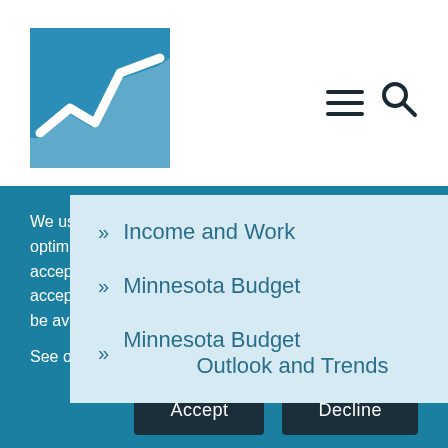[Figure (logo): Minnesota Management and Budget logo - blue square with white line chart graphic]
[Figure (infographic): Hamburger menu icon (three horizontal lines) and search icon (magnifying glass)]
» Income and Work
» Minnesota Budget
» Minnesota Budget Outlook and Trends
We use cookies to improve your user experience and optimize our website functionality. You do not have to accept cookies to visit our website. But if you do not accept cookies, some features of our website will not be available to you.
See our Privacy Policy for information.